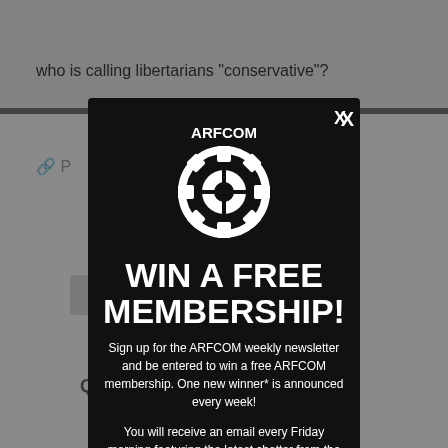who is calling libertarians "conservative"?
[Figure (screenshot): Background of a web forum page, partially visible behind a modal popup overlay]
WIN A FREE MEMBERSHIP!
Sign up for the ARFCOM weekly newsletter and be entered to win a free ARFCOM membership. One new winner* is announced every week!
You will receive an email every Friday morning featuring the latest chatter from the hottest topics, breaking news surrounding legislation, as well as exclusive deals only available to ARFCOM email subscribers.